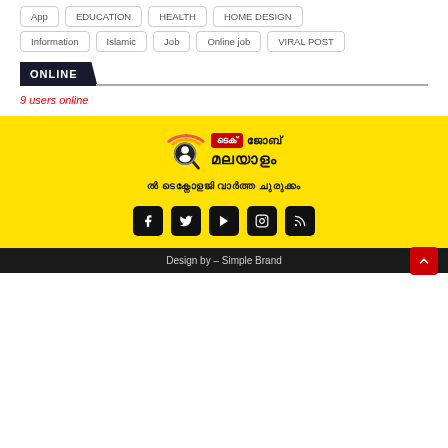App
EDUCATION
HEALTH
HOME DESIGN
Information
Islamic
Job
Online job
VIRAL POST
ONLINE
9 users online
[Figure (logo): Tech Job Malayalam logo with icon, red badge, and Malayalam script text]
Malayalam text tagline
Social media icons: Facebook, Twitter, YouTube, Instagram, RSS
Design by – Simple Brand